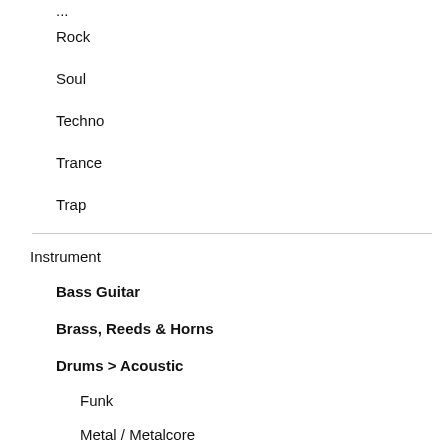Rock
Soul
Techno
Trance
Trap
Instrument
Bass Guitar
Brass, Reeds & Horns
Drums > Acoustic
Funk
Metal / Metalcore